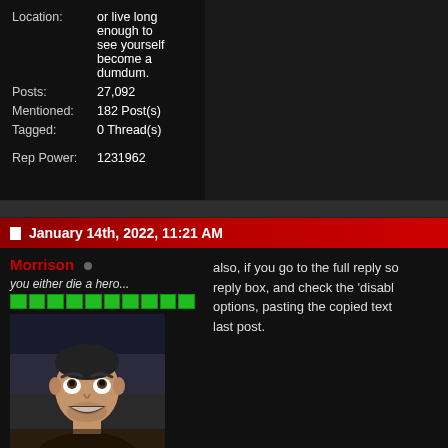Location: or live long enough to see yourself become a dumdum.
Posts: 27,092
Mentioned: 182 Post(s)
Tagged: 0 Thread(s)
Rep Power: 1231962
January 14th, 2022, 11:21 AM
Morrison
you either die a hero...
[Figure (photo): Profile photo of a man looking upward with mouth open, appears to be at a sports/wrestling event]
Join Date: Jan 2002
Location: or live long enough to see yourself become a dumdum.
Posts: 27,092
also, if you go to the full reply so... reply box, and check the 'disabl... options, pasting the copied text ... last post.